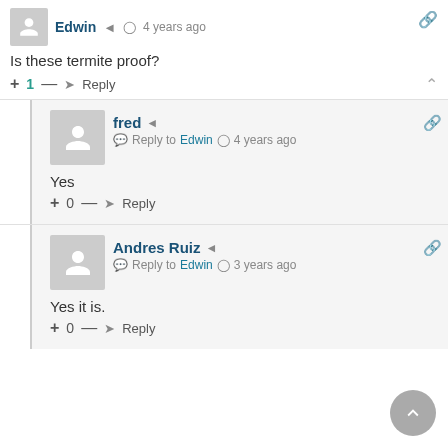Edwin  4 years ago
Is these termite proof?
+ 1 — Reply
fred  Reply to Edwin  4 years ago
Yes
+ 0 — Reply
Andres Ruiz  Reply to Edwin  3 years ago
Yes it is.
+ 0 — Reply